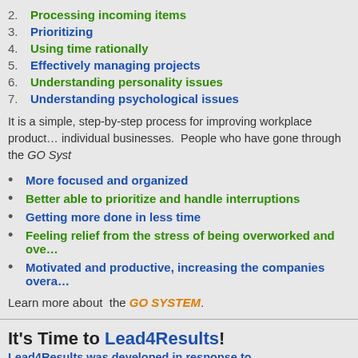2. Processing incoming items
3. Prioritizing
4. Using time rationally
5. Effectively managing projects
6. Understanding personality issues
7. Understanding psychological issues
It is a simple, step-by-step process for improving workplace productivity that is tailored to individual businesses. People who have gone through the GO System have reported being:
More focused and organized
Better able to prioritize and handle interruptions
Getting more done in less time
Feeling relief from the stress of being overworked and overwhelmed
Motivated and productive, increasing the companies overall performance
Learn more about the GO SYSTEM.
It's Time to Lead4Results!
Lead4Results was developed in response to